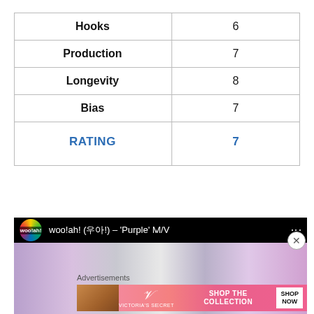| Hooks | 6 |
| Production | 7 |
| Longevity | 8 |
| Bias | 7 |
| RATING | 7 |
[Figure (screenshot): YouTube video thumbnail for woo!ah! (우아!) – 'Purple' M/V, showing channel logo and purple-themed thumbnail image]
Advertisements
[Figure (screenshot): Victoria's Secret advertisement banner with model, VS logo, and 'SHOP THE COLLECTION' text with SHOP NOW button]